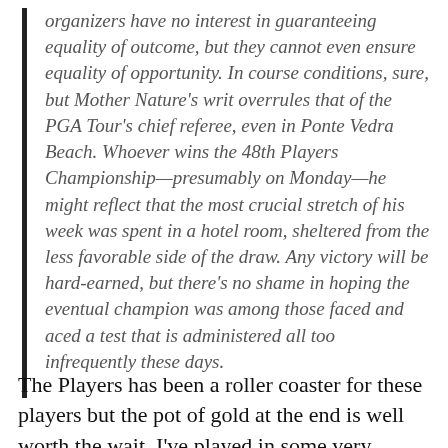organizers have no interest in guaranteeing equality of outcome, but they cannot even ensure equality of opportunity. In course conditions, sure, but Mother Nature's writ overrules that of the PGA Tour's chief referee, even in Ponte Vedra Beach. Whoever wins the 48th Players Championship—presumably on Monday—he might reflect that the most crucial stretch of his week was spent in a hotel room, sheltered from the less favorable side of the draw. Any victory will be hard-earned, but there's no shame in hoping the eventual champion was among those faced and aced a test that is administered all too infrequently these days.
The Players has been a roller coaster for these players but the pot of gold at the end is well worth the wait. I've played in some very windy